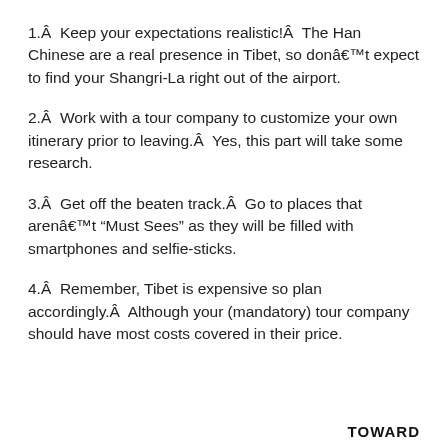1.Â  Keep your expectations realistic!Â  The Han Chinese are a real presence in Tibet, so donâ€™t expect to find your Shangri-La right out of the airport.
2.Â  Work with a tour company to customize your own itinerary prior to leaving.Â  Yes, this part will take some research.
3.Â  Get off the beaten track.Â  Go to places that arenâ€™t "Must Sees" as they will be filled with smartphones and selfie-sticks.
4.Â  Remember, Tibet is expensive so plan accordingly.Â  Although your (mandatory) tour company should have most costs covered in their price.
TOWARD